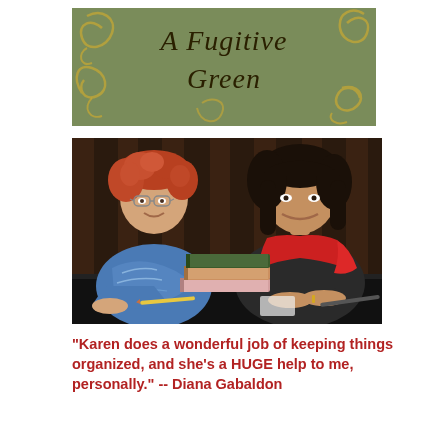[Figure (illustration): Book cover image for 'A Fugitive Green' with green background and gold decorative swirls, italic serif title text]
[Figure (photo): Two women seated at a table with books. Left woman has red curly hair, glasses, blue patterned top. Right woman has dark hair, red scarf, dark top. Dark curtain background. Books stacked on table.]
"Karen does a wonderful job of keeping things organized, and she's a HUGE help to me, personally." -- Diana Gabaldon